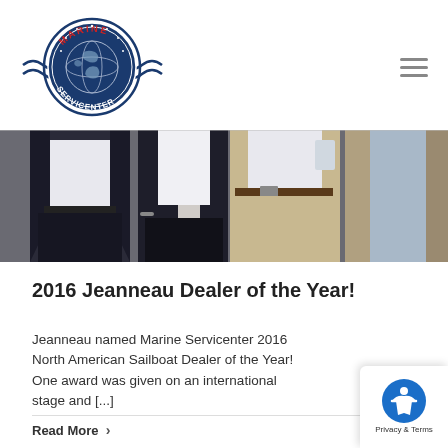[Figure (logo): Marine Servicenter logo: circular emblem with navy background, globe, waves, and text MARINE SERVICENTER in red and white]
[Figure (photo): Cropped photo of several people standing together indoors at an event, showing torsos and legs, wearing formal attire including blazers]
2016 Jeanneau Dealer of the Year!
Jeanneau named Marine Servicenter 2016 North American Sailboat Dealer of the Year! One award was given on an international stage and [...]
Read More >